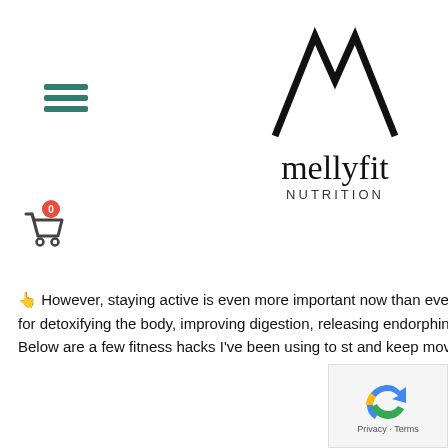[Figure (logo): mellyfit NUTRITION logo with double-M mountain shape above text]
[Figure (other): Shopping cart icon with red badge showing 0]
👆 However, staying active is even more important now than ever! Even just 15- 20 minutes of movement can be beneficial for detoxifying the body, improving digestion, releasing endorphins (feel good hormones!), and improving our immunity!
Below are a few fitness hacks I've been using to st and keep moving during quarantine: